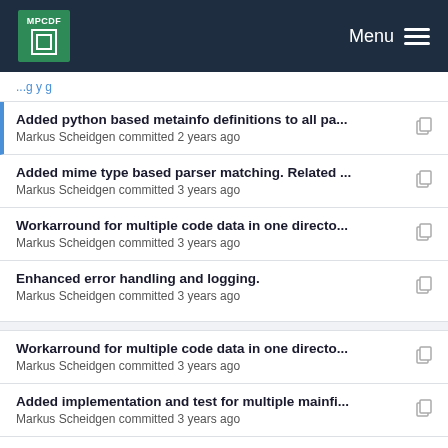MPCDF Menu
Added python based metainfo definitions to all pa... - Markus Scheidgen committed 2 years ago
Added mime type based parser matching. Related ... - Markus Scheidgen committed 3 years ago
Workarround for multiple code data in one directo... - Markus Scheidgen committed 3 years ago
Enhanced error handling and logging. - Markus Scheidgen committed 3 years ago
Workarround for multiple code data in one directo... - Markus Scheidgen committed 3 years ago
Added implementation and test for multiple mainfi... - Markus Scheidgen committed 3 years ago
Added mime type based parser matching. Related ...